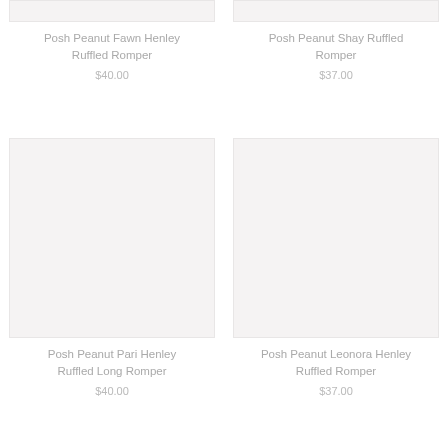[Figure (photo): Product image placeholder for Posh Peanut Fawn Henley Ruffled Romper (light gray background)]
Posh Peanut Fawn Henley Ruffled Romper
$40.00
[Figure (photo): Product image placeholder for Posh Peanut Shay Ruffled Romper (light gray background)]
Posh Peanut Shay Ruffled Romper
$37.00
[Figure (photo): Product image placeholder for Posh Peanut Pari Henley Ruffled Long Romper (light gray background)]
Posh Peanut Pari Henley Ruffled Long Romper
$40.00
[Figure (photo): Product image placeholder for Posh Peanut Leonora Henley Ruffled Romper (light gray background)]
Posh Peanut Leonora Henley Ruffled Romper
$37.00